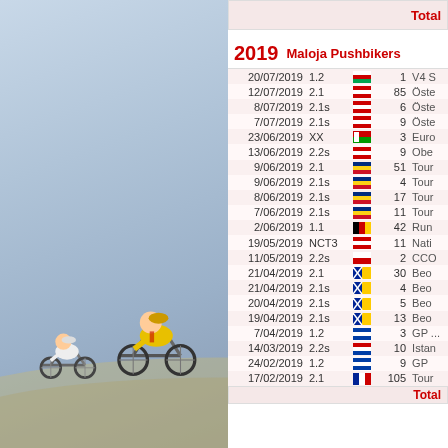Total
2019   Maloja Pushbikers
| Date | Cat | Country | Pos | Race |
| --- | --- | --- | --- | --- |
| 20/07/2019 | 1.2 | HUN | 1 | V4 S... |
| 12/07/2019 | 2.1 | AUT | 85 | Öste... |
| 8/07/2019 | 2.1s | AUT | 6 | Öste... |
| 7/07/2019 | 2.1s | AUT | 9 | Öste... |
| 23/06/2019 | XX | BLR | 3 | Euro... |
| 13/06/2019 | 2.2s | AUT | 9 | Obe... |
| 9/06/2019 | 2.1 | ROU | 51 | Tour... |
| 9/06/2019 | 2.1s | ROU | 4 | Tour... |
| 8/06/2019 | 2.1s | ROU | 17 | Tour... |
| 7/06/2019 | 2.1s | ROU | 11 | Tour... |
| 2/06/2019 | 1.1 | DEU | 42 | Run... |
| 19/05/2019 | NCT3 | AUT | 11 | Nati... |
| 11/05/2019 | 2.2s | POL | 2 | CCO... |
| 21/04/2019 | 2.1 | BIH | 30 | Beo... |
| 21/04/2019 | 2.1s | BIH | 4 | Beo... |
| 20/04/2019 | 2.1s | BIH | 5 | Beo... |
| 19/04/2019 | 2.1s | BIH | 13 | Beo... |
| 7/04/2019 | 1.2 | SVN | 3 | GP ... |
| 14/03/2019 | 2.2s | HRV | 10 | Istan... |
| 24/02/2019 | 1.2 | SVN | 9 | GP... |
| 17/02/2019 | 2.1 | FRA | 105 | Tour... |
Total